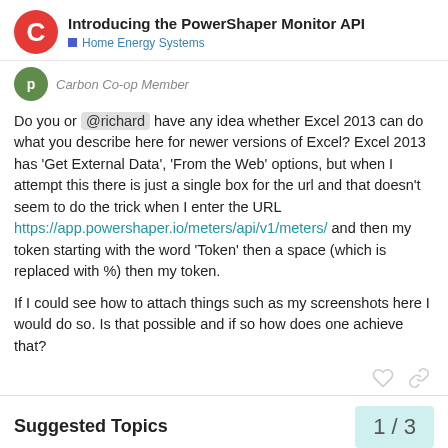Introducing the PowerShaper Monitor API — Home Energy Systems
Carbon Co-op Member
Do you or @richard have any idea whether Excel 2013 can do what you describe here for newer versions of Excel? Excel 2013 has 'Get External Data', 'From the Web' options, but when I attempt this there is just a single box for the url and that doesn't seem to do the trick when I enter the URL https://app.powershaper.io/meters/api/v1/meters/ and then my token starting with the word 'Token' then a space (which is replaced with %) then my token.

If I could see how to attach things such as my screenshots here I would do so. Is that possible and if so how does one achieve that?
Suggested Topics
1 / 3